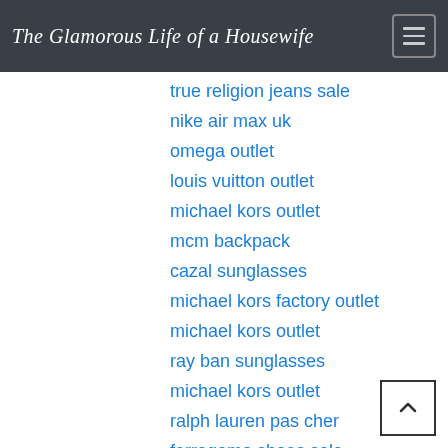The Glamorous Life of a Housewife
true religion jeans sale
nike air max uk
omega outlet
louis vuitton outlet
michael kors outlet
mcm backpack
cazal sunglasses
michael kors factory outlet
michael kors outlet
ray ban sunglasses
michael kors outlet
ralph lauren pas cher
ferragamo shoes sale
tory burch outlet
chrome hearts eyewear
coach outlet store
cheap ray ban sunglasses